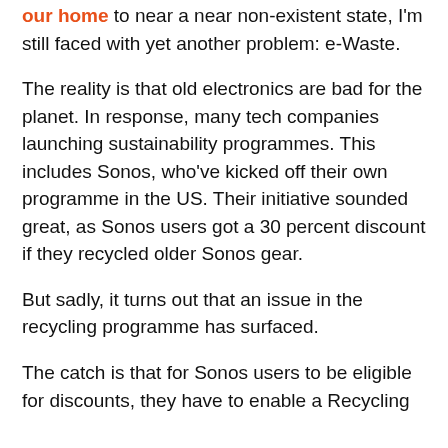our home to near a near non-existent state, I'm still faced with yet another problem: e-Waste.
The reality is that old electronics are bad for the planet. In response, many tech companies launching sustainability programmes. This includes Sonos, who've kicked off their own programme in the US. Their initiative sounded great, as Sonos users got a 30 percent discount if they recycled older Sonos gear.
But sadly, it turns out that an issue in the recycling programme has surfaced.
The catch is that for Sonos users to be eligible for discounts, they have to enable a Recycling